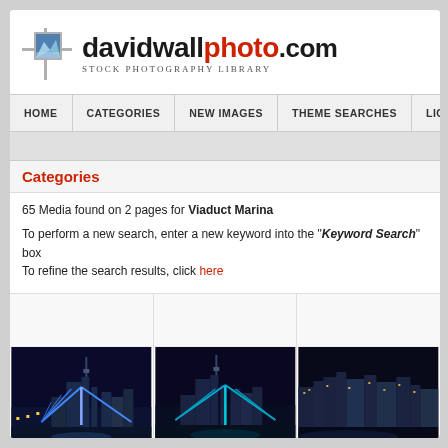[Figure (logo): davidwallphoto.com logo with mountain photo icon and text 'Stock Photography Library']
HOME | CATEGORIES | NEW IMAGES | THEME SEARCHES | LIG...
Categories
65 Media found on 2 pages for Viaduct Marina
To perform a new search, enter a new keyword into the "Keyword Search" box
To refine the search results, click here
[Figure (photo): Night photo of Viaduct Marina bridge with city skyline, blue lighting - first thumbnail]
[Figure (photo): Night photo of Viaduct Marina bridge with city skyline - second thumbnail]
[Figure (photo): Night photo of Auckland city skyline from marina - third thumbnail (partially visible)]